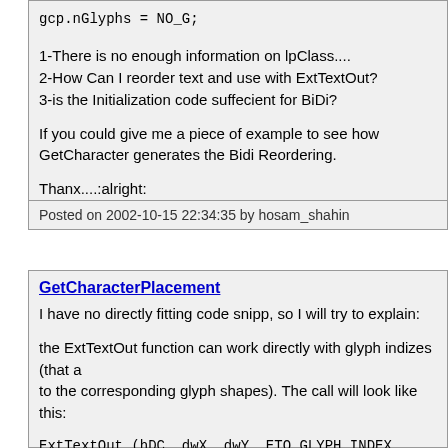gcp.nGlyphs = NO_G;
1-There is no enough information on lpClass....
2-How Can I reorder text and use with ExtTextOut?
3-is the Initialization code suffecient for BiDi?
If you could give me a piece of example to see how GetCharacter generates the Bidi Reordering.
Thanx....:alright:
Posted on 2002-10-15 22:34:35 by hosam_shahin
GetCharacterPlacement
I have no directly fitting code snipp, so I will try to explain:
the ExtTextOut function can work directly with glyph indizes (that a to the corresponding glyph shapes). The call will look like this:
ExtTextOut (hDC, dwX, dwY, ETO_GLYPH_INDEX, lprcDim, lpwA
where lpwArray are glyph indizes instead of chars.
So you need to get the indizes before with GetCharacterPlacem
The function will
- process ligates (GCP_LIGATE)
- reorder right-left (GCP_REORDER)
- measure kerning (GCP_USEKERNING)
- find glyph shapes (GCP_GLYPHSHAPE)